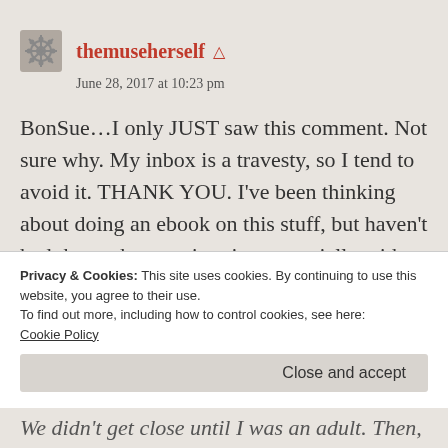themuseherself
June 28, 2017 at 10:23 pm
BonSue…I only JUST saw this comment. Not sure why. My inbox is a travesty, so I tend to avoid it. THANK YOU. I've been thinking about doing an ebook on this stuff, but haven't had the push to get it going, especially with school. I didn't realize university would consume SO MUCH time and
Privacy & Cookies: This site uses cookies. By continuing to use this website, you agree to their use.
To find out more, including how to control cookies, see here:
Cookie Policy
Close and accept
We didn't get close until I was an adult. Then,